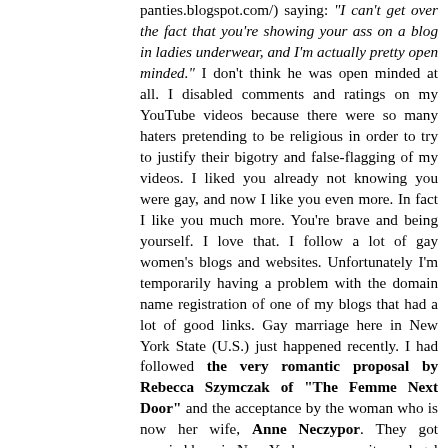panties.blogspot.com/) saying: "I can't get over the fact that you're showing your ass on a blog in ladies underwear, and I'm actually pretty open minded." I don't think he was open minded at all. I disabled comments and ratings on my YouTube videos because there were so many haters pretending to be religious in order to try to justify their bigotry and false-flagging of my videos. I liked you already not knowing you were gay, and now I like you even more. In fact I like you much more. You're brave and being yourself. I love that. I follow a lot of gay women's blogs and websites. Unfortunately I'm temporarily having a problem with the domain name registration of one of my blogs that had a lot of good links. Gay marriage here in New York State (U.S.) just happened recently. I had followed the very romantic proposal by Rebecca Szymczak of "The Femme Next Door" and the acceptance by the woman who is now her wife, Anne Neczypor. They got married here in New York as soon as it was legal to do it. How sad that there are so many people (bigots) who would tell people who love each other that they can't get married because of their gender and their (bigots) own pseudo "religious" beliefs. The way you stated it is so clear, beautifully stated and understandable. If you and your wife ever choose to share